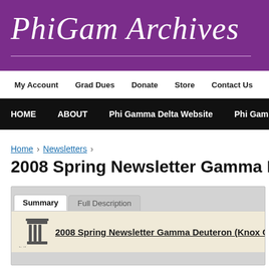PhiGam Archives
My Account   Grad Dues   Donate   Store   Contact Us
HOME   ABOUT   Phi Gamma Delta Website   Phi Gamma Delta History
Home › Newsletters ›
2008 Spring Newsletter Gamma Deutero
Summary | Full Description
2008 Spring Newsletter Gamma Deuteron (Knox Co